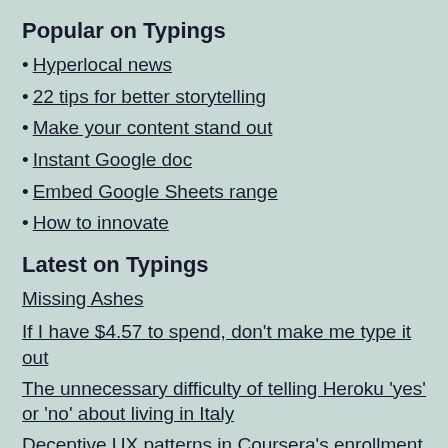Popular on Typings
Hyperlocal news
22 tips for better storytelling
Make your content stand out
Instant Google doc
Embed Google Sheets range
How to innovate
Latest on Typings
Missing Ashes
If I have $4.57 to spend, don't make me type it out
The unnecessary difficulty of telling Heroku ‘yes’ or ‘no’ about living in Italy
Deceptive UX patterns in Coursera’s enrollment ‘deadlines’ and ‘starts’ [micro-anecdotnalysis]